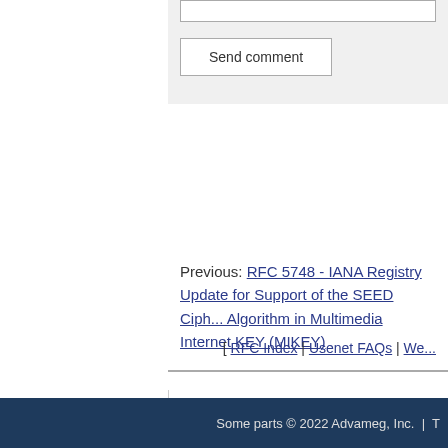Send comment
Previous: RFC 5748 - IANA Registry Update for Support of the SEED Cipher Algorithm in Multimedia Internet KEY (MIKEY)
[ RFC Index | Usenet FAQs | We...
Some parts © 2022 Advameg, Inc. | T...